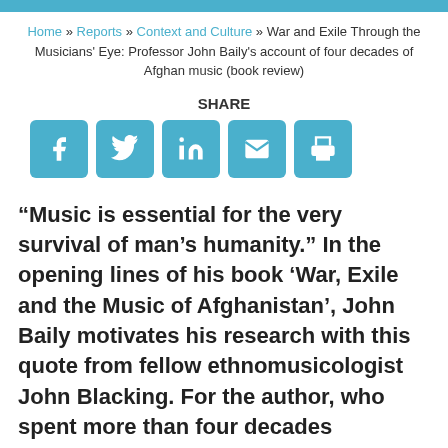Home » Reports » Context and Culture » War and Exile Through the Musicians' Eye: Professor John Baily's account of four decades of Afghan music (book review)
SHARE
[Figure (infographic): Social share buttons: Facebook, Twitter, LinkedIn, Email, Print]
“Music is essential for the very survival of man’s humanity.” In the opening lines of his book ‘War, Exile and the Music of Afghanistan’, John Baily motivates his research with this quote from fellow ethnomusicologist John Blacking. For the author, who spent more than four decades researching and performing the music of